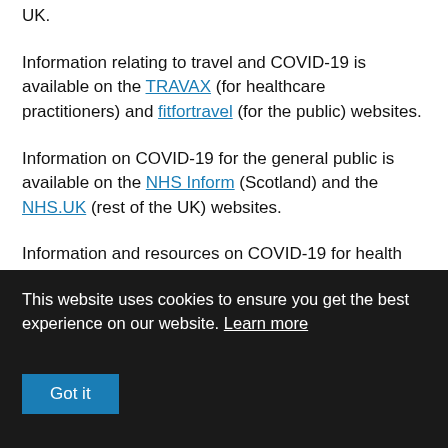UK.
Information relating to travel and COVID-19 is available on the TRAVAX (for healthcare practitioners) and fitfortravel (for the public) websites.
Information on COVID-19 for the general public is available on the NHS Inform (Scotland) and the NHS.UK (rest of the UK) websites.
Information and resources on COVID-19 for health
This website uses cookies to ensure you get the best experience on our website. Learn more
Got it